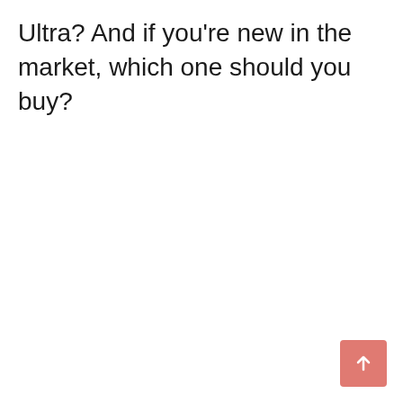Ultra? And if you're new in the market, which one should you buy?
[Figure (other): A salmon/coral colored square button with a white upward-pointing arrow, positioned in the bottom-right corner of the page.]